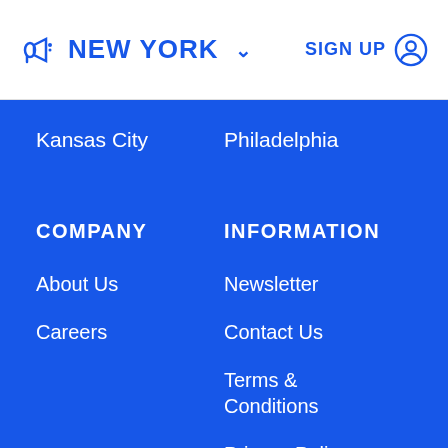NEW YORK  SIGN UP
Kansas City
Philadelphia
COMPANY
INFORMATION
About Us
Newsletter
Careers
Contact Us
Terms & Conditions
Privacy Policy
Online Tracking Opt Out Guide